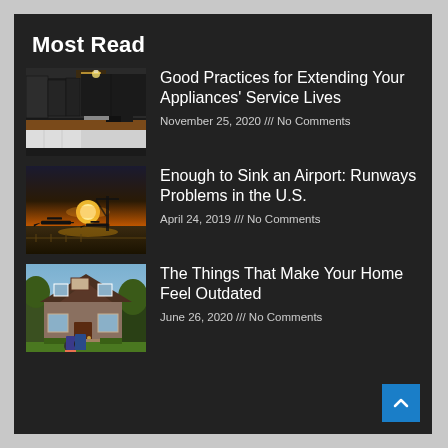Most Read
[Figure (photo): Kitchen interior with dark cabinets, appliances, and white lower cabinets]
Good Practices for Extending Your Appliances' Service Lives
November 25, 2020 /// No Comments
[Figure (photo): Airport runway at sunset with airplane silhouettes and golden light]
Enough to Sink an Airport: Runways Problems in the U.S.
April 24, 2019 /// No Comments
[Figure (photo): Two people standing in front of a house viewed from behind]
The Things That Make Your Home Feel Outdated
June 26, 2020 /// No Comments